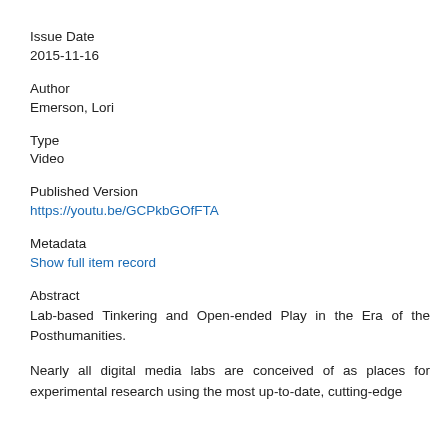Issue Date
2015-11-16
Author
Emerson, Lori
Type
Video
Published Version
https://youtu.be/GCPkbGOfFTA
Metadata
Show full item record
Abstract
Lab-based Tinkering and Open-ended Play in the Era of the Posthumanities.

Nearly all digital media labs are conceived of as places for experimental research using the most up-to-date, cutting-edge